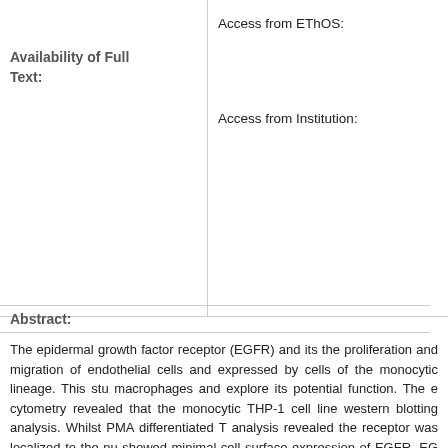| Availability of Full Text: |  |
| --- | --- |
|  | Access from EThOS:

Access from Institution: |
Abstract:
The epidermal growth factor receptor (EGFR) and its the proliferation and migration of endothelial cells and expressed by cells of the monocytic lineage. This stu macrophages and explore its potential function. The e cytometry revealed that the monocytic THP-1 cell line western blotting analysis. Whilst PMA differentiated T analysis revealed the receptor was localized to the nu showed minimal cell surface expression of EGFR. EG with 50nM HB-EGF for 12 hours and this was statistic expression following treatment with 50nM TGFa for 1 significantly increased in both monocytic and differen and 1.8 fold (P < 0.01) respectively] and 2.5ng/ml IL- peripheral blood-derived monocytes displayed very lo peaked following 48 hours in culture and returned to increase (P < 0.01) in maximum chemotactic activity. established monocyte chemokine MCP-1 at 1nM (P < fold increase in their chemotactic response compared the response seen for 0.1nM MCP-1 with these same chemotactic response to 0.1nM MCP-1 decreased, w